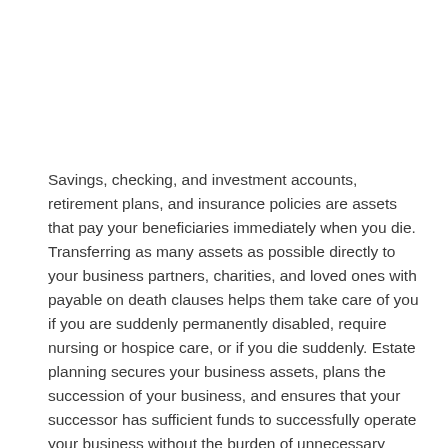Savings, checking, and investment accounts, retirement plans, and insurance policies are assets that pay your beneficiaries immediately when you die. Transferring as many assets as possible directly to your business partners, charities, and loved ones with payable on death clauses helps them take care of you if you are suddenly permanently disabled, require nursing or hospice care, or if you die suddenly. Estate planning secures your business assets, plans the succession of your business, and ensures that your successor has sufficient funds to successfully operate your business without the burden of unnecessary assets and business